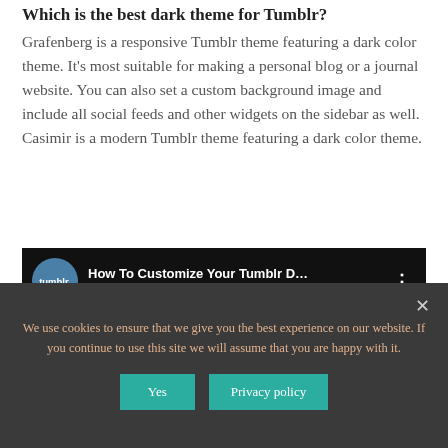Which is the best dark theme for Tumblr?
Grafenberg is a responsive Tumblr theme featuring a dark color theme. It’s most suitable for making a personal blog or a journal website. You can also set a custom background image and include all social feeds and other widgets on the sidebar as well. Casimir is a modern Tumblr theme featuring a dark color theme.
[Figure (screenshot): Screenshot of a YouTube video titled 'How To Customize Your Tumblr D...' with Tumblr logo avatar, video controls, browser toolbar visible below.]
We use cookies to ensure that we give you the best experience on our website. If you continue to use this site we will assume that you are happy with it.